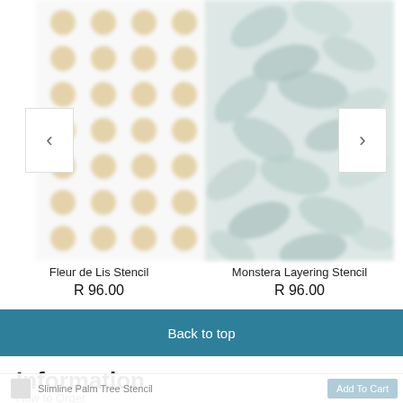[Figure (screenshot): Product carousel showing two stencil products: Fleur de Lis Stencil (left, blurred dots/circles pattern in gold/tan on white background) and Monstera Layering Stencil (right, blurred leaf pattern in grey-green). Left navigation arrow button on far left, right navigation arrow button on far right.]
Fleur de Lis Stencil
R 96.00
Monstera Layering Stencil
R 96.00
Back to top
Information
Slimline Palm Tree Stencil
How to Order